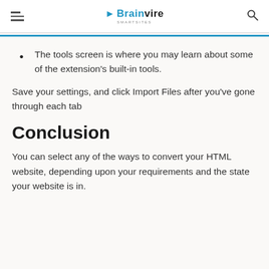Brainvire Smartsites
The tools screen is where you may learn about some of the extension's built-in tools.
Save your settings, and click Import Files after you've gone through each tab
Conclusion
You can select any of the ways to convert your HTML website, depending upon your requirements and the state your website is in.